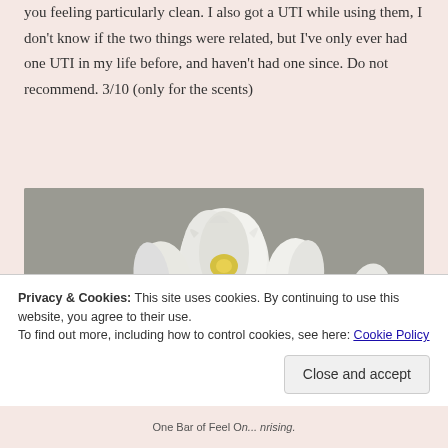you feeling particularly clean. I also got a UTI while using them, I don't know if the two things were related, but I've only ever had one UTI in my life before, and haven't had one since. Do not recommend. 3/10 (only for the scents)
Buy here
[Figure (photo): A close-up photograph of white tulips with green leaves, placed on a surface, shot from a low angle.]
Privacy & Cookies: This site uses cookies. By continuing to use this website, you agree to their use.
To find out more, including how to control cookies, see here: Cookie Policy
Close and accept
One Bar of Feel On... nrising.